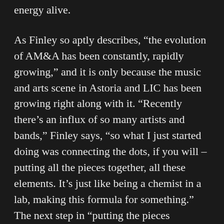energy alive.
As Finley so aptly describes, “the evolution of AM&A has been constantly, rapidly growing,” and it is only because the music and arts scene in Astoria and LIC has been growing right along with it. “Recently there’s an influx of so many artists and bands,” Finley says, “so what I just started doing was connecting the dots, if you will – putting all the pieces together, all these elements. It’s just like being a chemist in a lab, making this formula for something.” The next step in “putting the pieces together” came after Finley received an e-mail back from Audrey Dimola, one of the editors at Ins&Outs.
Following a meeting with the staff of LIC’s